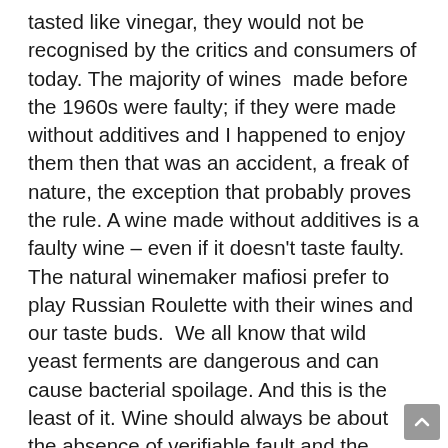tasted like vinegar, they would not be recognised by the critics and consumers of today. The majority of wines made before the 1960s were faulty; if they were made without additives and I happened to enjoy them then that was an accident, a freak of nature, the exception that probably proves the rule. A wine made without additives is a faulty wine – even if it doesn't taste faulty. The natural winemaker mafiosi prefer to play Russian Roulette with their wines and our taste buds. We all know that wild yeast ferments are dangerous and can cause bacterial spoilage. And this is the least of it. Wine should always be about the absence of verifiable fault and the purity of fruit. The wines that people call natural are merely an aggregation of aldehydes, stinky compounds, reduction, brett, TCA and so forth. And, of course, these wines are all, without exception, oxidised to the hilt – and beyond